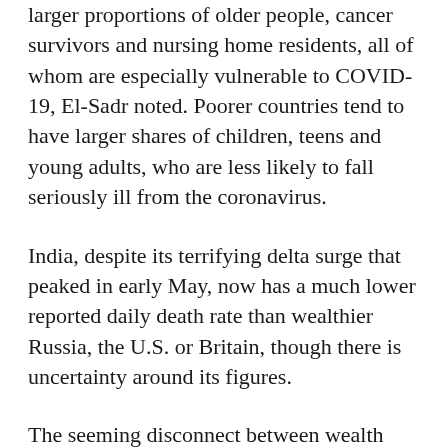larger proportions of older people, cancer survivors and nursing home residents, all of whom are especially vulnerable to COVID-19, El-Sadr noted. Poorer countries tend to have larger shares of children, teens and young adults, who are less likely to fall seriously ill from the coronavirus.
India, despite its terrifying delta surge that peaked in early May, now has a much lower reported daily death rate than wealthier Russia, the U.S. or Britain, though there is uncertainty around its figures.
The seeming disconnect between wealth and health is a paradox that disease experts will be pondering for years. But the pattern that is seen on the grand scale, when nations are compared, is different when examined at closer range. Within each wealthy country, when deaths and infections are mapped, poorer